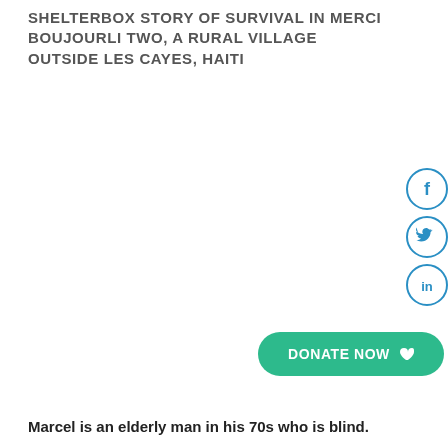SHELTERBOX STORY OF SURVIVAL IN MERCI BOUJOURLI TWO, A RURAL VILLAGE OUTSIDE LES CAYES, HAITI
[Figure (illustration): Social media sharing icons: Facebook (f), Twitter (bird), LinkedIn (in) — circular outlined icons in blue]
[Figure (other): Green 'DONATE NOW' button with a heart icon]
Marcel is an elderly man in his 70s who is blind.